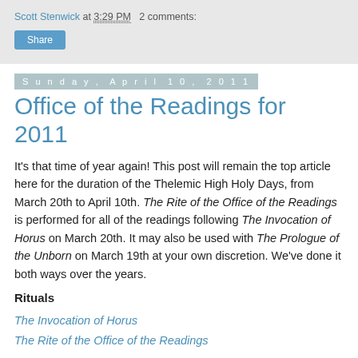Scott Stenwick at 3:29 PM   2 comments:
Share
Sunday, April 10, 2011
Office of the Readings for 2011
It's that time of year again! This post will remain the top article here for the duration of the Thelemic High Holy Days, from March 20th to April 10th. The Rite of the Office of the Readings is performed for all of the readings following The Invocation of Horus on March 20th. It may also be used with The Prologue of the Unborn on March 19th at your own discretion. We've done it both ways over the years.
Rituals
The Invocation of Horus
The Rite of the Office of the Readings